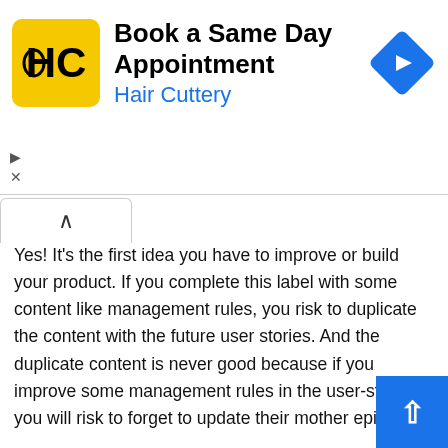[Figure (screenshot): Advertisement banner for Hair Cuttery - Book a Same Day Appointment, with logo, title, subtitle in blue, and a blue navigation arrow icon]
Yes! It's the first idea you have to improve or build your product. If you complete this label with some content like management rules, you risk to duplicate the content with the future user stories. And the duplicate content is never good because if you improve some management rules in the user-stories, you will risk to forget to update their mother epic.
So if you need to put some ideas because you're afraid to forget, I advice you to create directly a small user story with these ideas! No worry, a user story don't need to be complete at the beginning.
To conclude, an epic is just a simple label and have to keep this form; So if you need write down some ideas, I advice to favor the creation of user-stories! I hope this simple